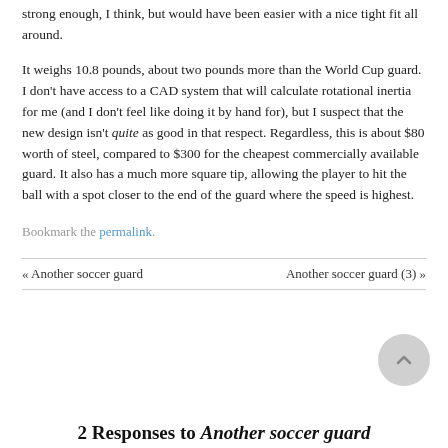strong enough, I think, but would have been easier with a nice tight fit all around.
It weighs 10.8 pounds, about two pounds more than the World Cup guard. I don't have access to a CAD system that will calculate rotational inertia for me (and I don't feel like doing it by hand for), but I suspect that the new design isn't quite as good in that respect. Regardless, this is about $80 worth of steel, compared to $300 for the cheapest commercially available guard. It also has a much more square tip, allowing the player to hit the ball with a spot closer to the end of the guard where the speed is highest.
Bookmark the permalink.
« Another soccer guard     Another soccer guard (3) »
2 Responses to Another soccer guard